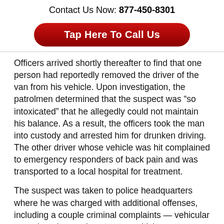Contact Us Now: 877-450-8301
[Figure (other): Red rounded button with white bold text: Tap Here To Call Us]
Officers arrived shortly thereafter to find that one person had reportedly removed the driver of the van from his vehicle. Upon investigation, the patrolmen determined that the suspect was “so intoxicated” that he allegedly could not maintain his balance. As a result, the officers took the man into custody and arrested him for drunken driving. The other driver whose vehicle was hit complained to emergency responders of back pain and was transported to a local hospital for treatment.
The suspect was taken to police headquarters where he was charged with additional offenses, including a couple criminal complaints — vehicular assault and operating a motor vehicle on a suspended license reportedly due to multiple previous DWI convictions. The man was eventually released on $5,000 bail pending trial.